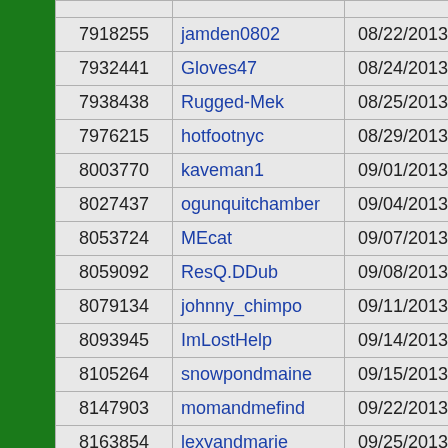| ID | Username | Date | Type |
| --- | --- | --- | --- |
| 7918255 | jamden0802 | 08/22/2013 | Basic |
| 7932441 | Gloves47 | 08/24/2013 | Premium |
| 7938438 | Rugged-Mek | 08/25/2013 | Basic |
| 7976215 | hotfootnyc | 08/29/2013 | Basic |
| 8003770 | kaveman1 | 09/01/2013 | Premium |
| 8027437 | ogunquitchamber | 09/04/2013 | Basic |
| 8053724 | MEcat | 09/07/2013 | Premium |
| 8059092 | ResQ.DDub | 09/08/2013 | Basic |
| 8079134 | johnny_chimpo | 09/11/2013 | Basic |
| 8093945 | ImLostHelp | 09/14/2013 | Basic |
| 8105264 | snowpondmaine | 09/15/2013 | Basic |
| 8147903 | momandmefind | 09/22/2013 | Basic |
| 8163854 | lexyandmarie | 09/25/2013 | Basic |
| 8167961 | SVALTED | 09/26/2013 | Basic |
| 8182596 | ConradW | 09/28/2013 | Premium |